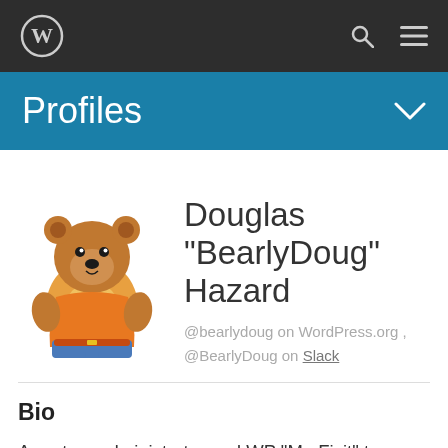[Figure (screenshot): WordPress top navigation bar with WP logo, search icon, and hamburger menu on dark background]
Profiles
[Figure (illustration): Cartoon bear character wearing orange shirt and blue pants, standing with arms on hips]
Douglas "BearlyDoug" Hazard
@bearlydoug on WordPress.org , @BearlyDoug on Slack
Bio
A system administrator and WP “Mr. Fixit” type guy for my day job, I’m also an avid sports fan and